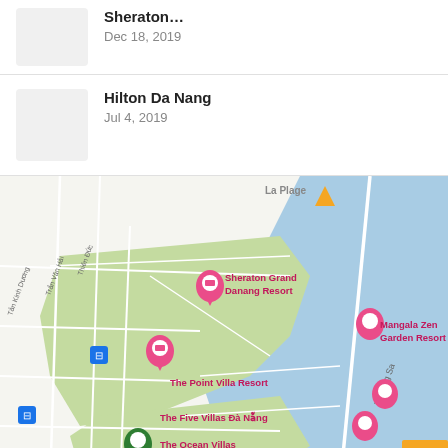Sheraton... Dec 18, 2019
Hilton Da Nang Jul 4, 2019
[Figure (map): Google Maps view of Da Nang coastal resort area showing Sheraton Grand Danang Resort, The Point Villa Resort, Mangala Zen Garden Resort, The Five Villas Da Nang, The Ocean Villas, Villa Tievoli Vietnam, Naman Retreat, and La Plage. Streets include Truong Sa. Blue ocean to the right, green resort areas in center, road network visible.]